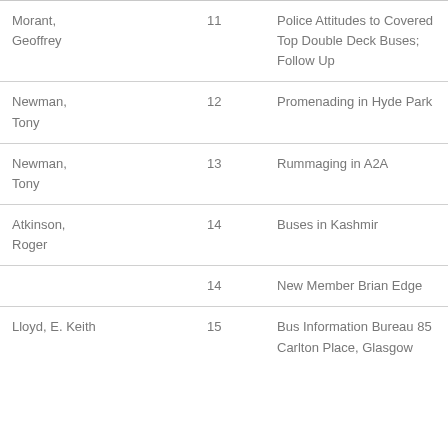| Author | Page | Title |
| --- | --- | --- |
| Morant, Geoffrey | 11 | Police Attitudes to Covered Top Double Deck Buses; Follow Up |
| Newman, Tony | 12 | Promenading in Hyde Park |
| Newman, Tony | 13 | Rummaging in A2A |
| Atkinson, Roger | 14 | Buses in Kashmir |
|  | 14 | New Member Brian Edge |
| Lloyd, E. Keith | 15 | Bus Information Bureau 85 Carlton Place, Glasgow |